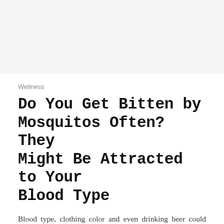[Figure (other): Light gray top banner area]
Wellness
Do You Get Bitten by Mosquitos Often? They Might Be Attracted to Your Blood Type
Blood type, clothing color and even drinking beer could make you more prone to mosquito bites.
[Figure (photo): Circular author headshot/avatar]